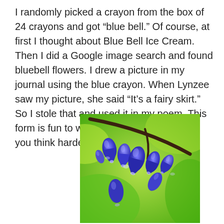I randomly picked a crayon from the box of 24 crayons and got “blue bell.” Of course, at first I thought about Blue Bell Ice Cream. Then I did a Google image search and found bluebell flowers. I drew a picture in my journal using the blue crayon. When Lynzee saw my picture, she said “It’s a fairy skirt.” So I stole that and used it in my poem. This form is fun to work with because it makes you think harder to get the syllables right.
[Figure (photo): Close-up photograph of bluebell flowers hanging from a curved dark stem against a bright green blurred background. The flowers are deep blue-purple bell shapes.]